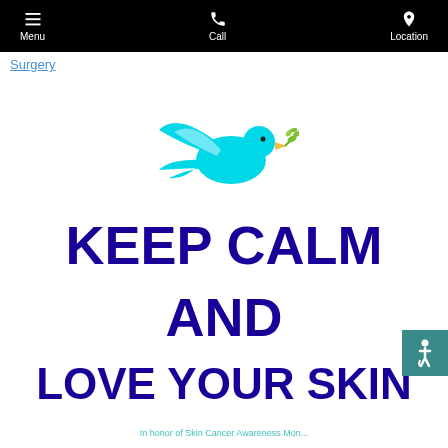Menu | Call | Location
Surgery
[Figure (illustration): Teal/cyan dove bird carrying a green olive branch, flying to the right, with lighter blue wing highlights]
KEEP CALM AND LOVE YOUR SKIN
In honor of Skin Cancer Awareness Mon...